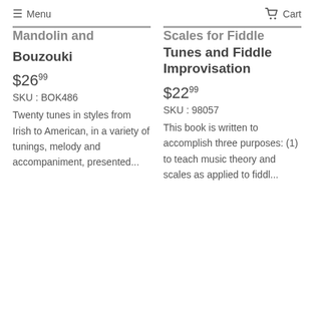≡ Menu   Cart
Mandolin and Bouzouki
$26.99
SKU : BOK486
Twenty tunes in styles from Irish to American, in a variety of tunings, melody and accompaniment, presented...
Scales for Fiddle Tunes and Fiddle Improvisation
$22.99
SKU : 98057
This book is written to accomplish three purposes: (1) to teach music theory and scales as applied to fiddl...